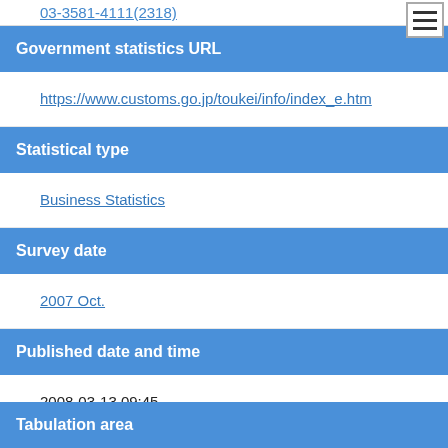03-3581-4111(2318)
Government statistics URL
https://www.customs.go.jp/toukei/info/index_e.htm
Statistical type
Business Statistics
Survey date
2007 Oct.
Published date and time
2008-03-13 09:45
Frequency
Monthly
Tabulation area